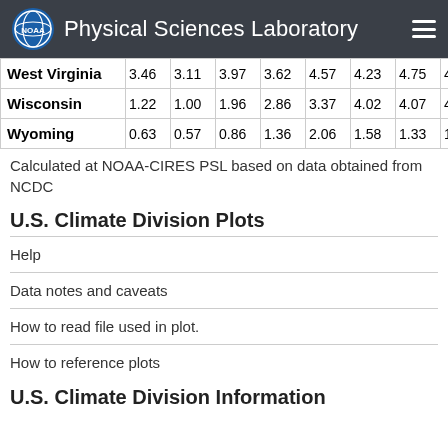Physical Sciences Laboratory
| West Virginia | 3.46 | 3.11 | 3.97 | 3.62 | 4.57 | 4.23 | 4.75 | 4.13 | 3.51 | 3.05… |
| Wisconsin | 1.22 | 1.00 | 1.96 | 2.86 | 3.37 | 4.02 | 4.07 | 4.27 | 3.74 | 2.50… |
| Wyoming | 0.63 | 0.57 | 0.86 | 1.36 | 2.06 | 1.58 | 1.33 | 1.02 | 1.14 | 1.04… |
Calculated at NOAA-CIRES PSL based on data obtained from NCDC
U.S. Climate Division Plots
Help
Data notes and caveats
How to read file used in plot.
How to reference plots
U.S. Climate Division Information